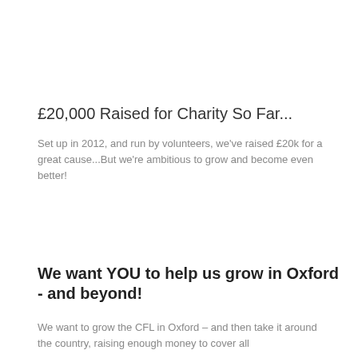£20,000 Raised for Charity So Far...
Set up in 2012, and run by volunteers, we've raised £20k for a great cause...But we're ambitious to grow and become even better!
We want YOU to help us grow in Oxford - and beyond!
We want to grow the CFL in Oxford – and then take it around the country, raising enough money to cover all